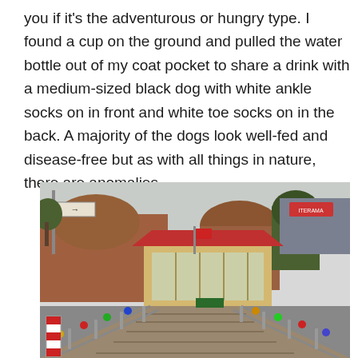you if it's the adventurous or hungry type. I found a cup on the ground and pulled the water bottle out of my coat pocket to share a drink with a medium-sized black dog with white ankle socks on in front and white toe socks on in the back. A majority of the dogs look well-fed and disease-free but as with all things in nature, there are anomalies.
[Figure (photo): A wooden boardwalk/bridge with metal railings decorated with colorful ornaments leads toward a restaurant or cafe building with a red roof and glass walls. Behind it are old brick domed structures and trees. A red and white striped bollard is visible on the left foreground. The scene appears to be in Turkey.]